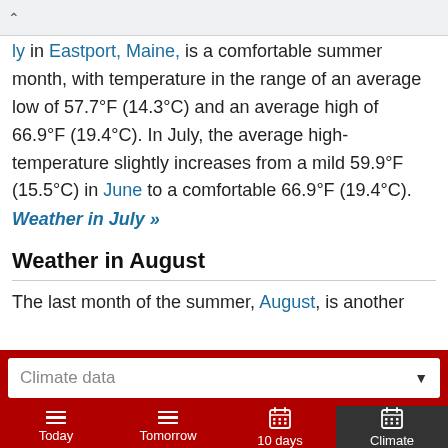ly in Eastport, Maine, is a comfortable summer month, with temperature in the range of an average low of 57.7°F (14.3°C) and an average high of 66.9°F (19.4°C). In July, the average high-temperature slightly increases from a mild 59.9°F (15.5°C) in June to a comfortable 66.9°F (19.4°C).
Weather in July »
Weather in August
The last month of the summer, August, is another
Climate data
Today
Tomorrow
10 days
Climate